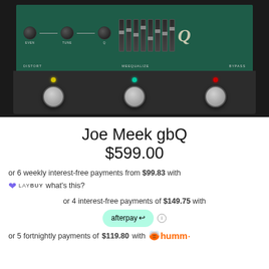[Figure (photo): Joe Meek gbQ guitar pedal with dark green top panel showing knobs, faders, and labels (DISTORT, MEEQUALIZE, BYPASS), and dark grey bottom panel with three footswitches and LED indicators (yellow, teal, red).]
Joe Meek gbQ
$599.00
or 6 weekly interest-free payments from $99.83 with
LAYBUY what's this?
or 4 interest-free payments of $149.75 with afterpay
or 5 fortnightly payments of $119.80 with humm